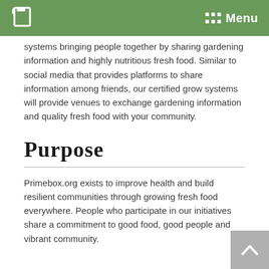Menu
systems bringing people together by sharing gardening information and highly nutritious fresh food. Similar to social media that provides platforms to share information among friends, our certified grow systems will provide venues to exchange gardening information and quality fresh food with your community.
Purpose
Primebox.org exists to improve health and build resilient communities through growing fresh food everywhere. People who participate in our initiatives share a commitment to good food, good people and vibrant community.